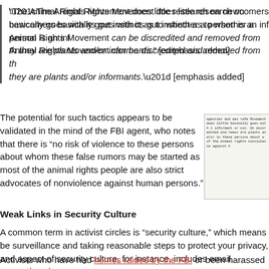“The Animal Rights Movement does little research on newcomers basically goes with its gut instinct as to whether a person is an informant or not. Once a person in the Animal Rights Movement can be discredited and removed from the movement if they are plants and/or informants.” [emphasis added]
The potential for such tactics appears to be validated in the mind of the FBI agent, who notes that there is “no risk of violence to these persons about whom these false rumors may be started as most of the animal rights people are also strict advocates of nonviolence against human persons.”
[Figure (photo): Scanned FBI document excerpt showing typewritten text about the Animal Rights Movement and informants, partially visible and cropped]
Weak Links in Security Culture
A common term in activist circles is “security culture,” which means being aware of surveillance and taking reasonable steps to protect your privacy, and making it harder for agencies... One aspect of security culture, for instance, includes email encryption via...
Activists who have had homes raided by the FBI or been harassed there... have learned the importance of protecting their privacy, and making it...